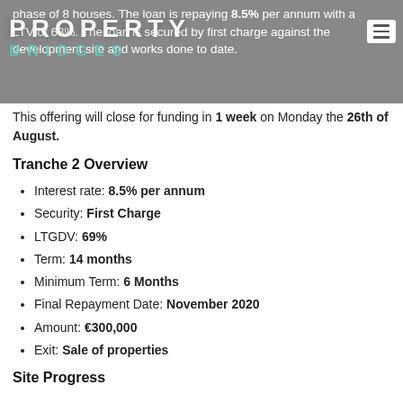phase of 8 houses. The loan is repaying 8.5% per annum with a LTV of 63%. The loan is secured by first charge against the development site and works done to date.
This offering will close for funding in 1 week on Monday the 26th of August.
Tranche 2 Overview
Interest rate: 8.5% per annum
Security: First Charge
LTGDV: 69%
Term: 14 months
Minimum Term: 6 Months
Final Repayment Date: November 2020
Amount: €300,000
Exit: Sale of properties
Site Progress